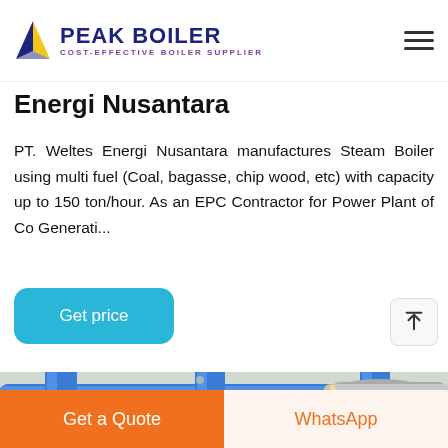PEAK BOILER - COST-EFFECTIVE BOILER SUPPLIER
Energi Nusantara
PT. Weltes Energi Nusantara manufactures Steam Boiler using multi fuel (Coal, bagasse, chip wood, etc) with capacity up to 150 ton/hour. As an EPC Contractor for Power Plant of Co Generati...
[Figure (photo): Industrial boiler room with blue pipes and red pipe accents inside a facility]
Get a Quote | WhatsApp